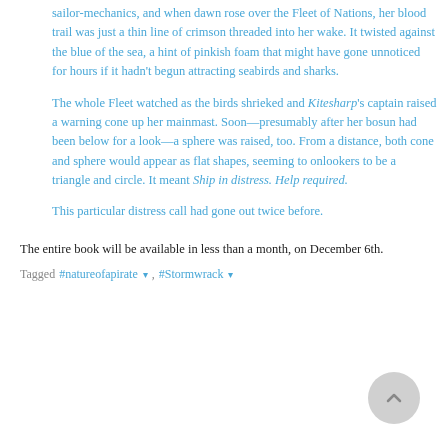sailor-mechanics, and when dawn rose over the Fleet of Nations, her blood trail was just a thin line of crimson threaded into her wake. It twisted against the blue of the sea, a hint of pinkish foam that might have gone unnoticed for hours if it hadn't begun attracting seabirds and sharks.
The whole Fleet watched as the birds shrieked and Kitesharp's captain raised a warning cone up her mainmast. Soon—presumably after her bosun had been below for a look—a sphere was raised, too. From a distance, both cone and sphere would appear as flat shapes, seeming to onlookers to be a triangle and circle. It meant Ship in distress. Help required.
This particular distress call had gone out twice before.
The entire book will be available in less than a month, on December 6th.
Tagged  #natureofapirate ▾ ,  #Stormwrack ▾